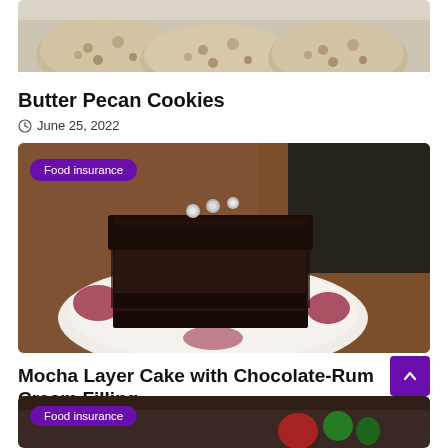[Figure (photo): Partial top image of butter pecan cookies on a surface, cropped at top]
Butter Pecan Cookies
June 25, 2022
[Figure (photo): Close-up photo of a slice of mocha layer cake with chocolate ganache topping on a decorative plate, with 'Food insurance' badge overlay]
Mocha Layer Cake with Chocolate-Rum Cream Filling
June 25, 2022
[Figure (photo): Partial bottom image of another recipe with colorful elements and 'Food insurance' badge overlay]